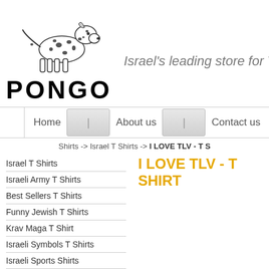[Figure (logo): Pongo store logo with Dalmatian dog illustration and PONGO text]
Israel's leading store for T-
Home | About us | Contact us
Shirts -> Israel T Shirts -> I LOVE TLV - T S
Israel T Shirts
Israeli Army T Shirts
Best Sellers T Shirts
Funny Jewish T Shirts
Krav Maga T Shirt
Israeli Symbols T Shirts
Israeli Sports Shirts
Kids T Shirts
Hebrew T Shirts
I LOVE TLV - T SHIRT